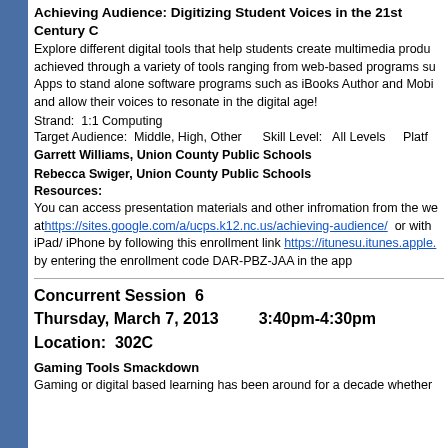Achieving Audience: Digitizing Student Voices in the 21st Century
Explore different digital tools that help students create multimedia products achieved through a variety of tools ranging from web-based programs such as Apps to stand alone software programs such as iBooks Author and Mobi and allow their voices to resonate in the digital age!
Strand:  1:1 Computing
Target Audience:  Middle, High, Other      Skill Level:   All Levels      Platt
Garrett Williams, Union County Public Schools
Rebecca Swiger, Union County Public Schools
Resources:
You can access presentation materials and other infromation from the website at https://sites.google.com/a/ucps.k12.nc.us/achieving-audience/  or with iPad/ iPhone by following this enrollment link https://itunesu.itunes.apple. by entering the enrollment code DAR-PBZ-JAA in the app
Concurrent Session  6
Thursday, March 7, 2013        3:40pm-4:30pm
Location:  302C
Gaming Tools Smackdown
Gaming or digital based learning has been around for a decade whether